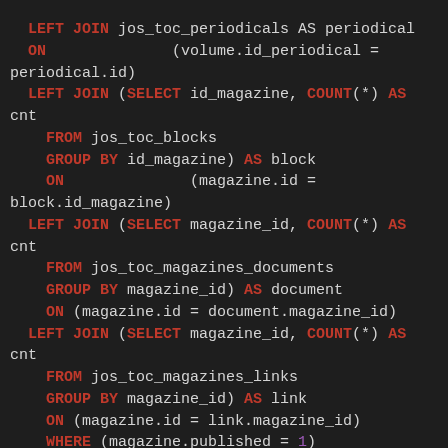SQL code block showing LEFT JOIN queries with SELECT, COUNT(*) AS cnt, FROM, GROUP BY, ON, WHERE, AND clauses referencing jos_toc_periodicals, jos_toc_blocks, jos_toc_magazines_documents, jos_toc_magazines_links tables